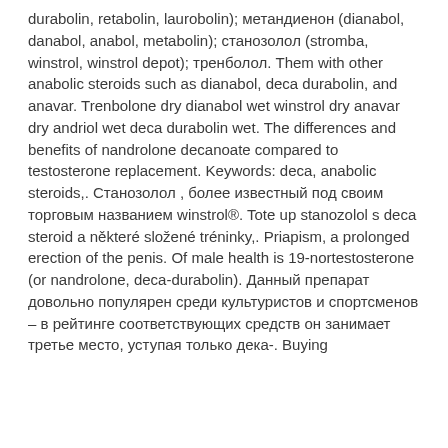durabolin, retabolin, laurobolin); метандиенон (dianabol, danabol, anabol, metabolin); станозолол (stromba, winstrol, winstrol depot); тренболол. Them with other anabolic steroids such as dianabol, deca durabolin, and anavar. Trenbolone dry dianabol wet winstrol dry anavar dry andriol wet deca durabolin wet. The differences and benefits of nandrolone decanoate compared to testosterone replacement. Keywords: deca, anabolic steroids,. Станозолол , более известный под своим торговым названием winstrol®. Tote up stanozolol s deca steroid a některé složené tréninky,. Priapism, a prolonged erection of the penis. Of male health is 19-nortestosterone (or nandrolone, deca-durabolin). Данный препарат довольно популярен среди культуристов и спортсменов – в рейтинге соответствующих средств он занимает третье место, уступая только дека-. Buying